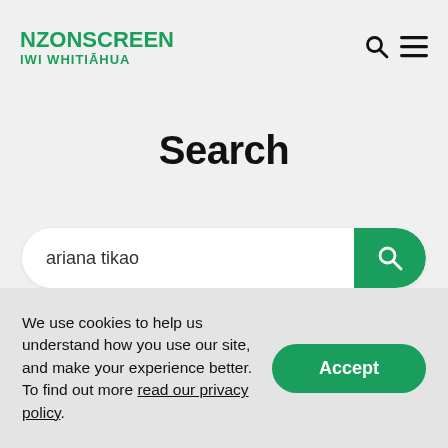NZONSCREEN IWI WHITIĀHUA
Search
ariana tikao
We use cookies to help us understand how you use our site, and make your experience better. To find out more read our privacy policy.